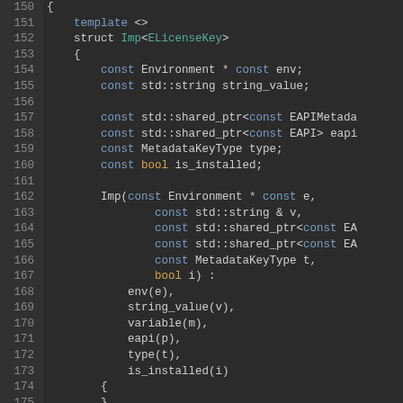[Figure (screenshot): C++ source code editor screenshot showing lines 150-177 with a struct Imp<ELicenseKey> definition including member variables and constructor with initializer list. Dark theme code editor with line numbers on left side.]